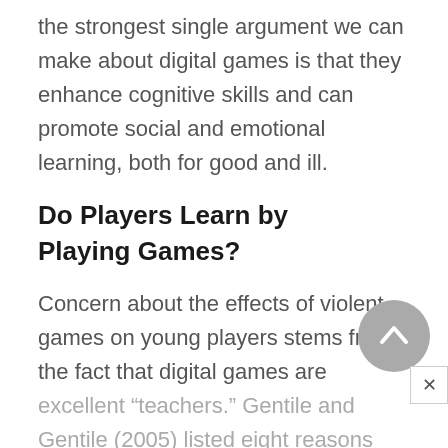the strongest single argument we can make about digital games is that they enhance cognitive skills and can promote social and emotional learning, both for good and ill.
Do Players Learn by Playing Games?
Concern about the effects of violent games on young players stems from the fact that digital games are excellent “teachers.” Gentile and Gentile (2005) listed eight reasons